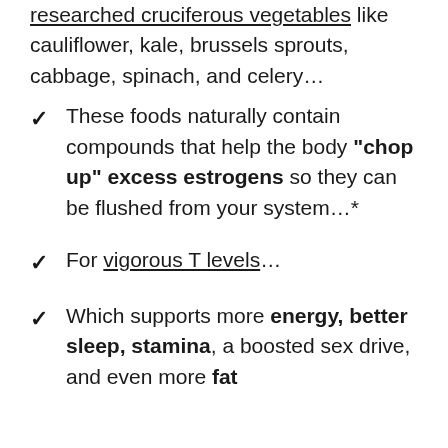researched cruciferous vegetables like cauliflower, kale, brussels sprouts, cabbage, spinach, and celery…
These foods naturally contain compounds that help the body "chop up" excess estrogens so they can be flushed from your system…*
For vigorous T levels…
Which supports more energy, better sleep, stamina, a boosted sex drive, and even more fat